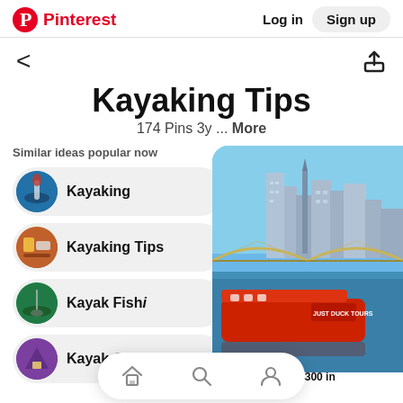Pinterest   Log in   Sign up
Kayaking Tips
174 Pins 3y ... More
Similar ideas popular now
Kayaking
Kayaking Tips
Kayak Fishing
Kayak Camping
[Figure (photo): City skyline with bridge and red duck boat tour vessel on the water, blue sky background — Best Kayak Under $300 in]
Best Kayak Under $300 in